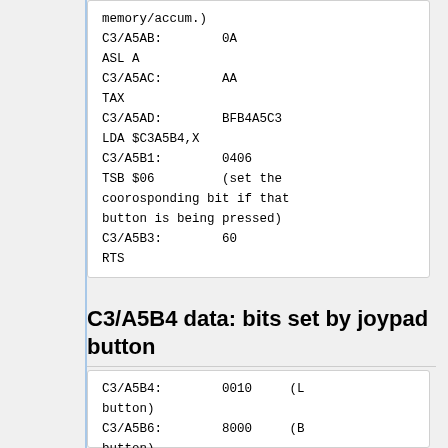memory/accum.)
C3/A5AB:        0A
ASL A
C3/A5AC:        AA
TAX
C3/A5AD:        BFB4A5C3
LDA $C3A5B4,X
C3/A5B1:        0406
TSB $06         (set the coorosponding bit if that button is being pressed)
C3/A5B3:        60
RTS
C3/A5B4 data: bits set by joypad button
C3/A5B4:        0010     (L button)
C3/A5B6:        8000     (B button)
C3/A5B8:        0080     (A button)